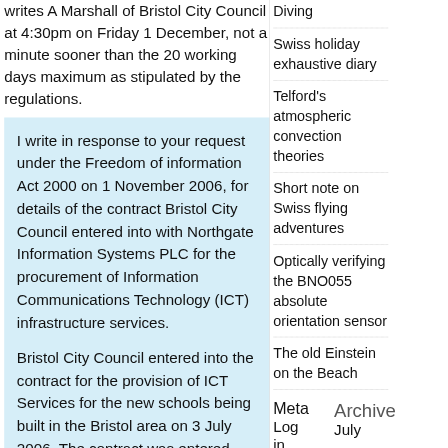writes A Marshall of Bristol City Council at 4:30pm on Friday 1 December, not a minute sooner than the 20 working days maximum as stipulated by the regulations.
I write in response to your request under the Freedom of information Act 2000 on 1 November 2006, for details of the contract Bristol City Council entered into with Northgate Information Systems PLC for the procurement of Information Communications Technology (ICT) infrastructure services.
Bristol City Council entered into the contract for the provision of ICT Services for the new schools being built in the Bristol area on 3 July 2006. The contract was entered into with our chosen developers of the
Diving
Swiss holiday exhaustive diary
Telford's atmospheric convection theories
Short note on Swiss flying adventures
Optically verifying the BNO055 absolute orientation sensor
The old Einstein on the Beach
Meta
Archive
July
Log in